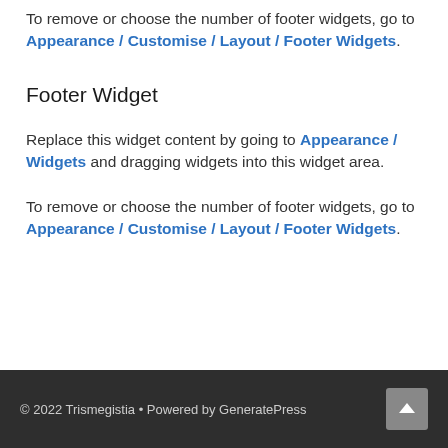To remove or choose the number of footer widgets, go to Appearance / Customise / Layout / Footer Widgets.
Footer Widget
Replace this widget content by going to Appearance / Widgets and dragging widgets into this widget area.
To remove or choose the number of footer widgets, go to Appearance / Customise / Layout / Footer Widgets.
© 2022 Trismegistia • Powered by GeneratePress